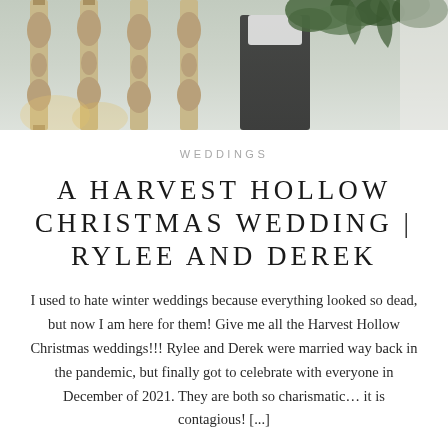[Figure (photo): Wedding photo showing decorative wooden spindle pillars and greenery arrangement with a person in dark clothing holding a white and green floral bouquet, light airy background]
WEDDINGS
A HARVEST HOLLOW CHRISTMAS WEDDING | RYLEE AND DEREK
I used to hate winter weddings because everything looked so dead, but now I am here for them! Give me all the Harvest Hollow Christmas weddings!!! Rylee and Derek were married way back in the pandemic, but finally got to celebrate with everyone in December of 2021. They are both so charismatic... it is contagious! [...]